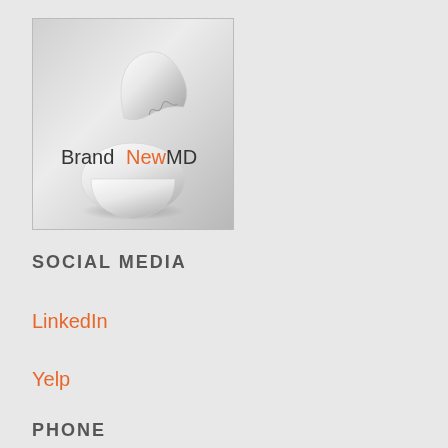[Figure (logo): BrandNewMD logo — cracked egg shell with the text 'BrandNewMD' where 'New' is in orange and the rest is dark gray, on a light gray gradient background]
SOCIAL MEDIA
LinkedIn
Yelp
PHONE